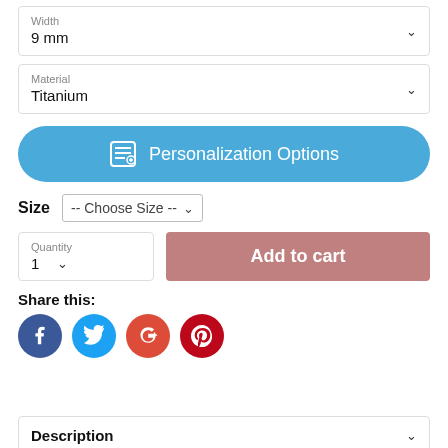Width
9 mm
Material
Titanium
Personalization Options
Size  -- Choose Size --
Quantity
1
Add to cart
Share this:
[Figure (infographic): Social media share icons: Facebook (blue circle), Twitter (light blue circle), Google+ (red-orange circle), Pinterest (dark red circle)]
Description